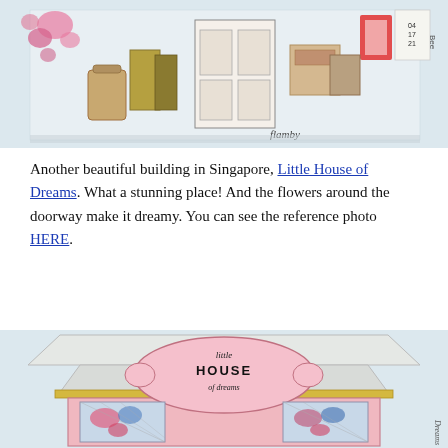[Figure (illustration): Watercolor/ink illustration of a colorful Singapore shopfront with various goods, pink flowers, luggage, and a signature at bottom right.]
Another beautiful building in Singapore, Little House of Dreams. What a stunning place! And the flowers around the doorway make it dreamy. You can see the reference photo HERE.
[Figure (illustration): Watercolor/ink illustration of 'Little House of Dreams' Singapore building, showing a decorative sign reading 'little HOUSE of dreams' with pink shop facade, colorful floral window displays, and light geometric roof structure.]